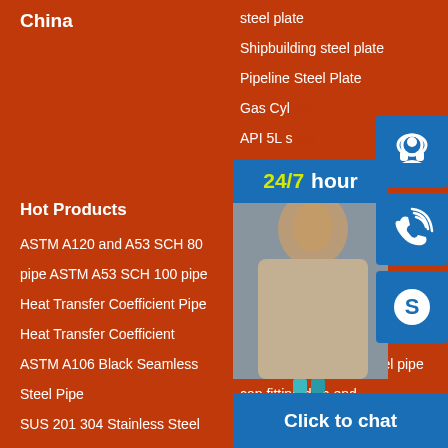China
steel plate
Shipbuilding steel plate
Pipeline Steel Plate
Gas Cyl...
API 5L s...
Hot Products
Latest
ASTM A120 and A53 SCH 80
Galvanize...
pipe ASTM A53 SCH 100 pipe
MSCDir...
Heat Transfer Coefficient Pipe
good 31...
Heat Transfer Coefficient
welded pipe tube factory supply
ASTM A106 Black Seamless Steel Pipe
High quality carbon steel pipe
SUS 201 304 Stainless Steel
cap fitting dish end
Welded Pipe
4 stainless steel square pipe
[Figure (screenshot): Chat overlay widget showing a customer service photo, 24/7 hour badge, headset icon, phone icon, Skype icon, and Click to chat bar]